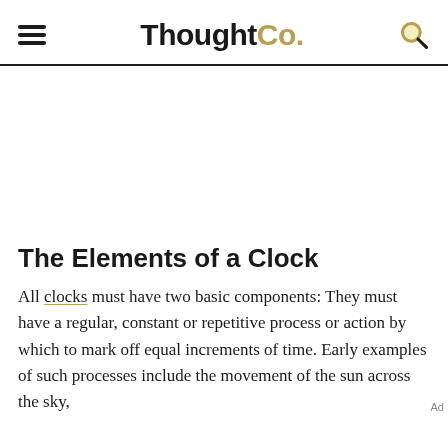ThoughtCo.
The Elements of a Clock
All clocks must have two basic components: They must have a regular, constant or repetitive process or action by which to mark off equal increments of time. Early examples of such processes include the movement of the sun across the sky,